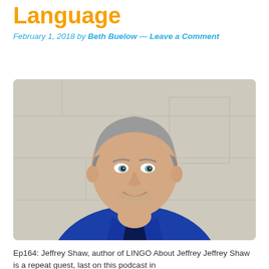Language
February 1, 2018 by Beth Buelow — Leave a Comment
[Figure (photo): Portrait photo of Jeffrey Shaw, a middle-aged man with gray hair wearing a blue polo shirt, smiling, standing against a light stone wall background.]
Ep164: Jeffrey Shaw, author of LINGO  About Jeffrey Jeffrey Shaw is a repeat guest, last on this podcast in